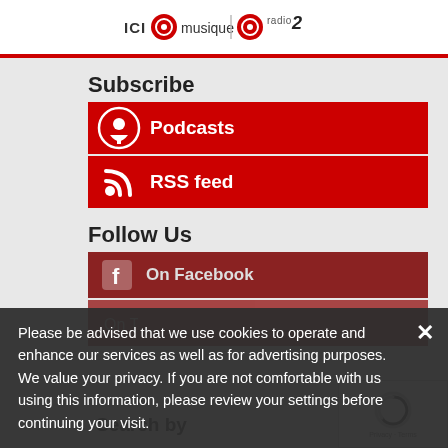[Figure (logo): ICI Musique and CBC Radio 2 logos in header bar]
Subscribe
Podcasts
RSS feed
Follow Us
On Facebook
On Twitter
Search by
CATEGORY
AUTHOR
Please be advised that we use cookies to operate and enhance our services as well as for advertising purposes. We value your privacy. If you are not comfortable with us using this information, please review your settings before continuing your visit.
Manage your navigation settings
Find out more